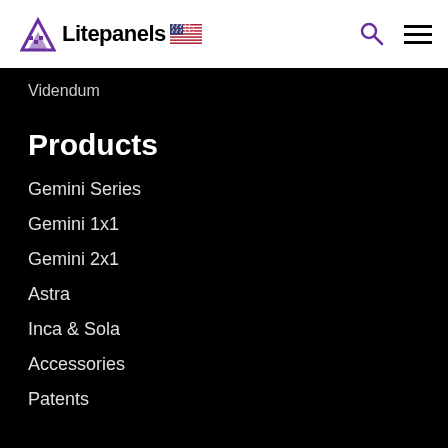Litepanels [US flag]
Videndum
Products
Gemini Series
Gemini 1x1
Gemini 2x1
Astra
Inca & Sola
Accessories
Patents
Product Support